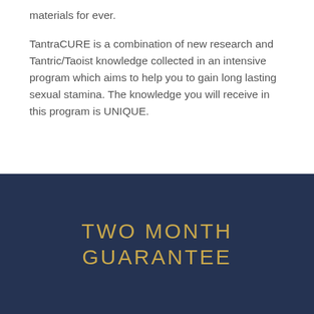materials for ever.
TantraCURE is a combination of new research and Tantric/Taoist knowledge collected in an intensive program which aims to help you to gain long lasting sexual stamina. The knowledge you will receive in this program is UNIQUE.
TWO MONTH GUARANTEE